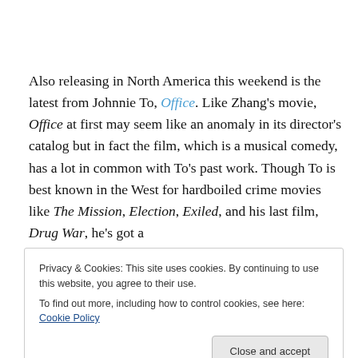Also releasing in North America this weekend is the latest from Johnnie To, Office. Like Zhang's movie, Office at first may seem like an anomaly in its director's catalog but in fact the film, which is a musical comedy, has a lot in common with To's past work. Though To is best known in the West for hardboiled crime movies like The Mission, Election, Exiled, and his last film, Drug War, he's got a
Privacy & Cookies: This site uses cookies. By continuing to use this website, you agree to their use.
To find out more, including how to control cookies, see here: Cookie Policy
Close and accept
includes the fantasy action films The Heroic Trio and The